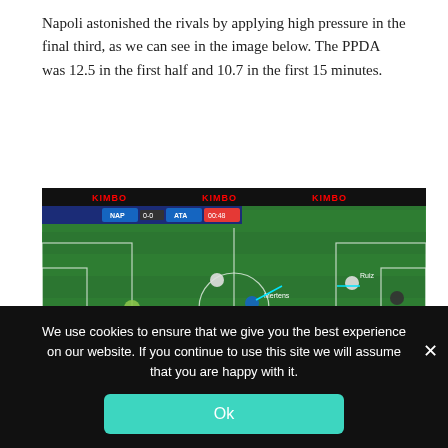Napoli astonished the rivals by applying high pressure in the final third, as we can see in the image below. The PPDA was 12.5 in the first half and 10.7 in the first 15 minutes.
[Figure (screenshot): Football match analysis screenshot showing Napoli vs Atalanta (0-0, 00:48). Players labeled on pitch: Mertens, Ruiz, Oslmhen, Bakayoko, Lozano with cyan arrow lines showing pressing movements.]
We use cookies to ensure that we give you the best experience on our website. If you continue to use this site we will assume that you are happy with it.